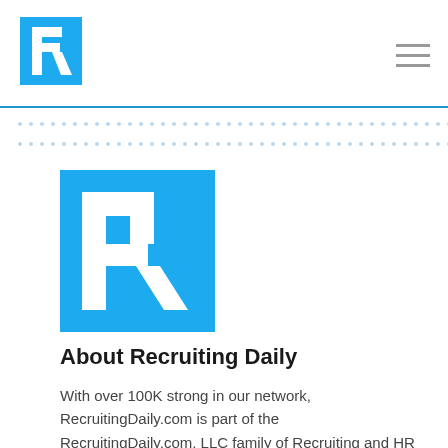Recruiting Daily logo and navigation menu
[Figure (logo): Recruiting Daily 'R' logo — white R on blue square background]
About Recruiting Daily
With over 100K strong in our network, RecruitingDaily.com is part of the RecruitingDaily.com, LLC family of Recruiting and HR communities.
Our goal is to provide information that is meaningful. Without compromise, our community comes first.